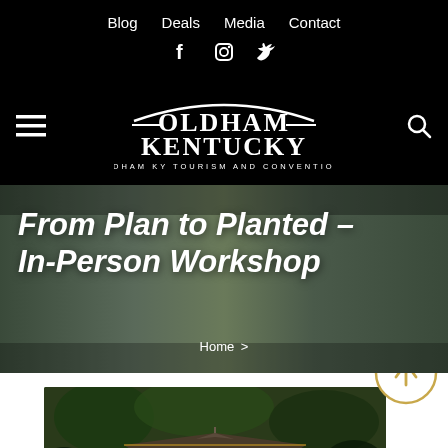Blog  Deals  Media  Contact
[Figure (logo): Oldham Kentucky Tourism and Conventions logo with social media icons (Facebook, Instagram, Twitter) and navigation hamburger menu and search icon]
From Plan to Planted – In-Person Workshop
Home >
[Figure (photo): Photo of a pavilion or outdoor venue with lights and crowds of people surrounded by trees and gardens, viewed at dusk or evening]